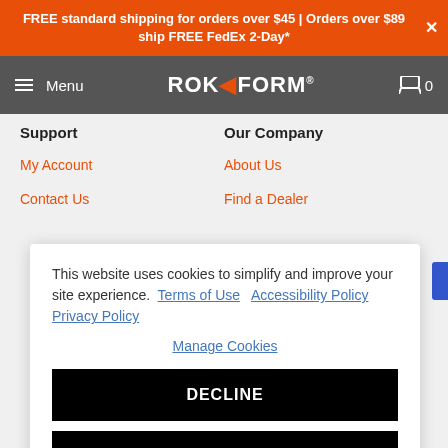FREE standard shipping for orders over $45 | Orders over $89 ship FREE FedEx 2-Day*
[Figure (screenshot): Rokform website navigation bar with hamburger menu, Rokform logo, and cart icon showing 0 items]
Support
Our Company
My Account
About Us
Contact Us
Find a Dealer
This website uses cookies to simplify and improve your site experience. Terms of Use  Accessibility Policy  Privacy Policy
Manage Cookies
DECLINE
ACCEPT